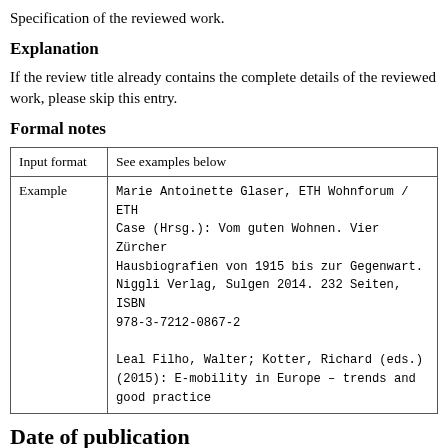Specification of the reviewed work.
Explanation
If the review title already contains the complete details of the reviewed work, please skip this entry.
Formal notes
| Input format | See examples below |
| --- | --- |
| Example | Marie Antoinette Glaser, ETH Wohnforum / ETH Case (Hrsg.): Vom guten Wohnen. Vier Zürcher Hausbiografien von 1915 bis zur Gegenwart. Niggli Verlag, Sulgen 2014. 232 Seiten, ISBN 978-3-7212-0867-2

Leal Filho, Walter; Kotter, Richard (eds.) (2015): E-mobility in Europe – trends and good practice |
Date of publication